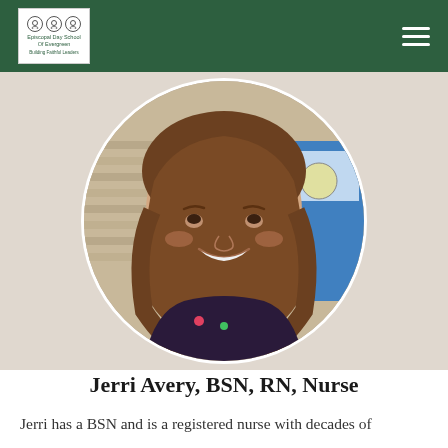Episcopal Day School of Evergreen
[Figure (photo): Circular cropped headshot photo of Jerri Avery, a woman with long brown hair, smiling, against a background of siding and colorful wall art]
Jerri Avery, BSN, RN, Nurse
Jerri has a BSN and is a registered nurse with decades of